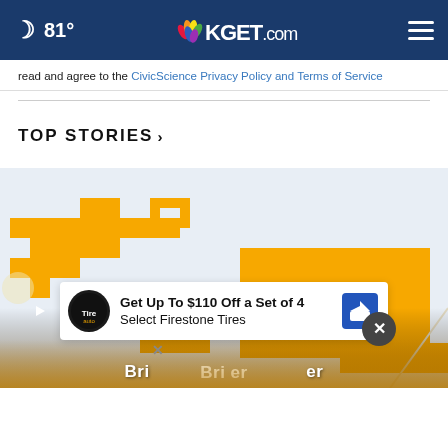81° KGET.com
read and agree to the CivicScience Privacy Policy and Terms of Service
TOP STORIES ›
[Figure (map): A map showing orange/yellow highlighted geographic regions, likely a power outage or weather hazard map in a Bakersfield/California area.]
Get Up To $110 Off a Set of 4 Select Firestone Tires
Bri...er (partial headline about a top story)